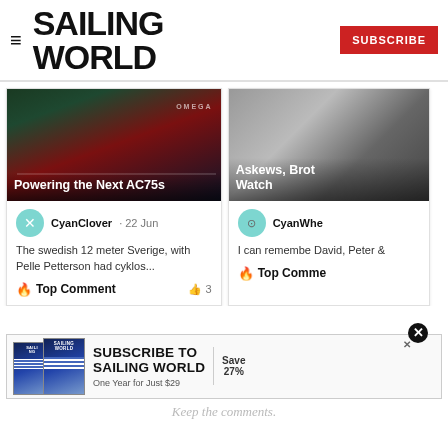SAILING WORLD
[Figure (screenshot): Website screenshot showing Sailing World navigation header with hamburger menu, bold SAILING WORLD logo, and red SUBSCRIBE button]
[Figure (photo): Photo of sailing boat with crew, related to article 'Powering the Next AC75s', with OMEGA branding visible]
Powering the Next AC75s
[Figure (photo): Greyscale photo of a person's face, related to article 'Askews, Brot Watch']
Askews, Brot Watch
CyanClover · 22 Jun
The swedish 12 meter Sverige, with Pelle Petterson had cyklos...
Top Comment
3
CyanWhe
I can remembe David, Peter &
Top Comme
[Figure (infographic): Sailing World subscription advertisement banner: SUBSCRIBE TO SAILING WORLD, One Year for Just $29, Save 27%]
Keep the comments.